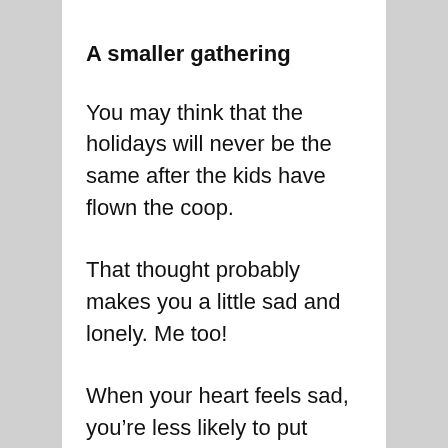A smaller gathering
You may think that the holidays will never be the same after the kids have flown the coop.
That thought probably makes you a little sad and lonely. Me too!
When your heart feels sad, you’re less likely to put effort into the holiday.  You don’t feel like cooking a big dinner.  The decorations don’t